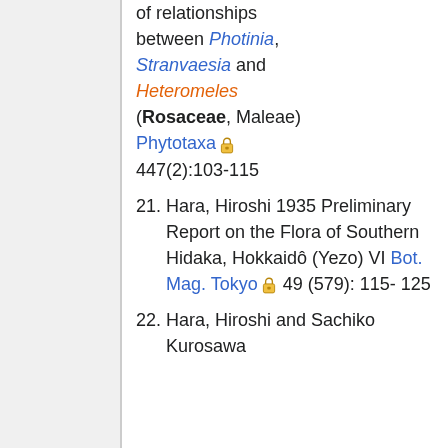(continuation) Molecular reappraisal of relationships between Photinia, Stranvaesia and Heteromeles (Rosaceae, Maleae) Phytotaxa 447(2):103-115
21. Hara, Hiroshi 1935 Preliminary Report on the Flora of Southern Hidaka, Hokkaidô (Yezo) VI Bot. Mag. Tokyo 49 (579): 115-125
22. Hara, Hiroshi and Sachiko Kurosawa